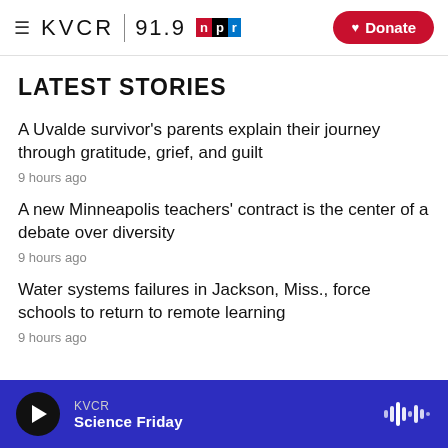KVCR 91.9 NPR | Donate
LATEST STORIES
A Uvalde survivor's parents explain their journey through gratitude, grief, and guilt
9 hours ago
A new Minneapolis teachers' contract is the center of a debate over diversity
9 hours ago
Water systems failures in Jackson, Miss., force schools to return to remote learning
9 hours ago
KVCR | Science Friday